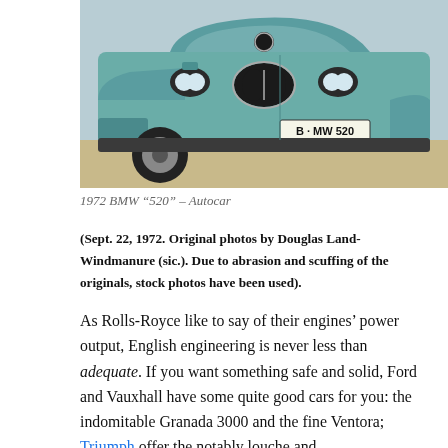[Figure (photo): Front view of a 1972 BMW 520 in light teal/green color, parked outdoors. License plate reads B-MW 520. Shows the distinctive BMW kidney grille and round headlights.]
1972 BMW "520" – Autocar
(Sept. 22, 1972. Original photos by Douglas Land-Windmanure (sic.). Due to abrasion and scuffing of the originals, stock photos have been used).
As Rolls-Royce like to say of their engines' power output, English engineering is never less than adequate. If you want something safe and solid, Ford and Vauxhall have some quite good cars for you: the indomitable Granada 3000 and the fine Ventora; Triumph offer the notably louche and